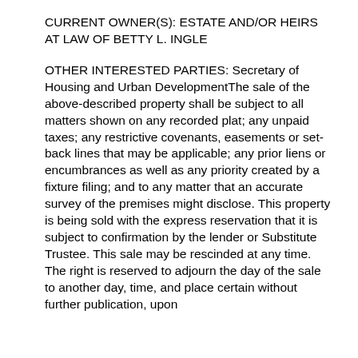CURRENT OWNER(S): ESTATE AND/OR HEIRS AT LAW OF BETTY L. INGLE
OTHER INTERESTED PARTIES: Secretary of Housing and Urban DevelopmentThe sale of the above-described property shall be subject to all matters shown on any recorded plat; any unpaid taxes; any restrictive covenants, easements or set-back lines that may be applicable; any prior liens or encumbrances as well as any priority created by a fixture filing; and to any matter that an accurate survey of the premises might disclose. This property is being sold with the express reservation that it is subject to confirmation by the lender or Substitute Trustee. This sale may be rescinded at any time. The right is reserved to adjourn the day of the sale to another day, time, and place certain without further publication, upon